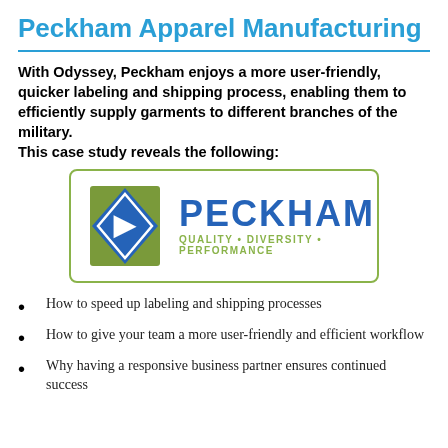Peckham Apparel Manufacturing
With Odyssey, Peckham enjoys a more user-friendly, quicker labeling and shipping process, enabling them to efficiently supply garments to different branches of the military.
This case study reveals the following:
[Figure (logo): Peckham logo: blue diamond shape with 'P' inside on an olive/green square background, beside bold blue text 'PECKHAM' and olive tagline 'QUALITY • DIVERSITY • PERFORMANCE', all inside a rounded olive-bordered rectangle.]
How to speed up labeling and shipping processes
How to give your team a more user-friendly and efficient workflow
Why having a responsive business partner ensures continued success